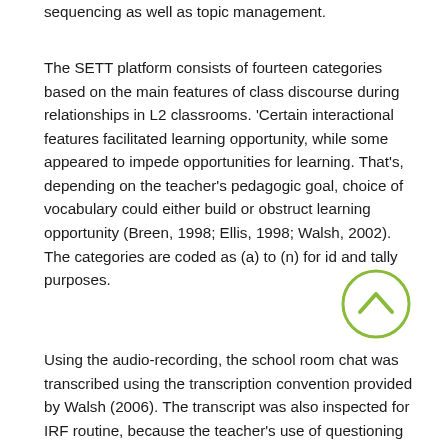sequencing as well as topic management.
The SETT platform consists of fourteen categories based on the main features of class discourse during relationships in L2 classrooms. 'Certain interactional features facilitated learning opportunity, while some appeared to impede opportunities for learning. That's, depending on the teacher's pedagogic goal, choice of vocabulary could either build or obstruct learning opportunity (Breen, 1998; Ellis, 1998; Walsh, 2002). The categories are coded as (a) to (n) for id and tally purposes.
Using the audio-recording, the school room chat was transcribed using the transcription convention provided by Walsh (2006). The transcript was also inspected for IRF routine, because the teacher's use of questioning techniques clearly reflected this routine, with the tutor initiating a question, that the college student provided a response, and teacher provided feedback by means of